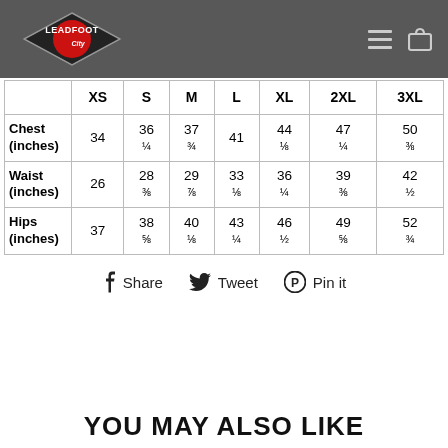Leadfoot City (logo) — navigation
|  | XS | S | M | L | XL | 2XL | 3XL |
| --- | --- | --- | --- | --- | --- | --- | --- |
| Chest (inches) | 34 | 36 ¼ | 37 ¾ | 41 | 44 ⅛ | 47 ¼ | 50 ⅜ |
| Waist (inches) | 26 | 28 ⅜ | 29 ⅞ | 33 ⅛ | 36 ¼ | 39 ⅜ | 42 ½ |
| Hips (inches) | 37 | 38 ⅝ | 40 ⅛ | 43 ¼ | 46 ½ | 49 ⅝ | 52 ¾ |
Share  Tweet  Pin it
YOU MAY ALSO LIKE